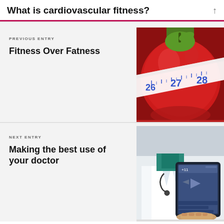What is cardiovascular fitness?
PREVIOUS ENTRY
Fitness Over Fatness
[Figure (photo): Red apple wrapped with a white measuring tape showing numbers 26, 27, 28]
NEXT ENTRY
Making the best use of your doctor
[Figure (photo): Doctor in white coat with stethoscope holding a tablet showing medical interface]